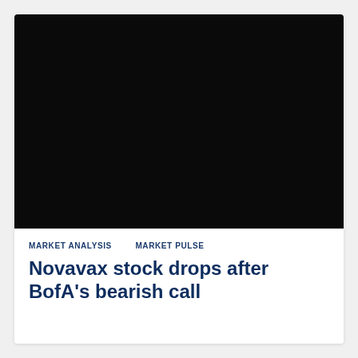[Figure (photo): Large dark/black image area, likely a stock chart or financial graph with very dark background, occupying the top portion of the card.]
MARKET ANALYSIS   MARKET PULSE
Novavax stock drops after BofA's bearish call